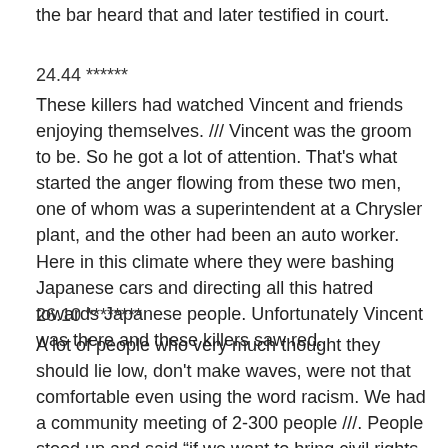the bar heard that and later testified in court.
24.44 ******
These killers had watched Vincent and friends enjoying themselves. /// Vincent was the groom to be. So he got a lot of attention. That's what started the anger flowing from these two men, one of whom was a superintendent at a Chrysler plant, and the other had been an auto worker. Here in this climate where they were bashing Japanese cars and directing all this hatred towards Japanese people. Unfortunately Vincent was there and these killers saw red.
26.10 ********
A lot of people who very much thought they should lie low, don't make waves, were not that comfortable even using the word racism. We had a community meeting of 2-300 people ///. People stood up and said “if we want to bring civil rights we need to show that we can do